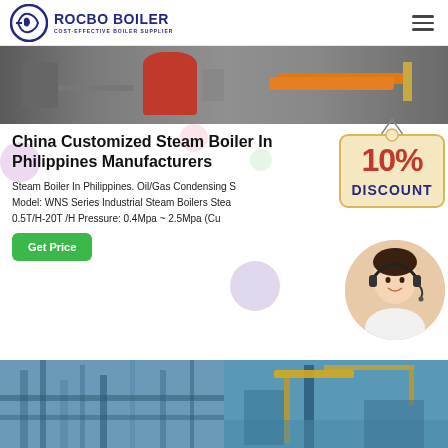ROCBO BOILER — COST-EFFECTIVE BOILER SUPPLIER
[Figure (photo): Industrial boiler machinery photo showing equipment with red cylinder and orange pipes in a factory setting]
China Customized Steam Boiler In Philippines Manufacturers
Steam Boiler In Philippines. Oil/Gas Condensing Steam Boiler Model: WNS Series Industrial Steam Boilers Steam Capacity: 0.5T/H-20T /H Pressure: 0.4Mpa ~ 2.5Mpa (Cu...
[Figure (illustration): 10% DISCOUNT promotional badge sign hanging]
[Figure (photo): Customer service representative smiling woman with headset, in circular crop]
[Figure (photo): Bottom left: industrial boiler piping interior photo]
[Figure (photo): Bottom right: industrial equipment with yellow crane arm]